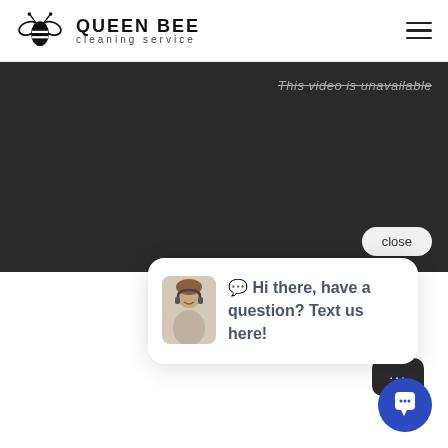QUEEN BEE cleaning service
[Figure (screenshot): Dark video player area showing 'This video is unavailable' with a close button]
Visit our Service Ai...
[Figure (infographic): Chat popup with customer service agent photo and text: Hi there, have a question? Text us here!]
Airbnb Covid19 Cleaning Between Gues... Related Info: